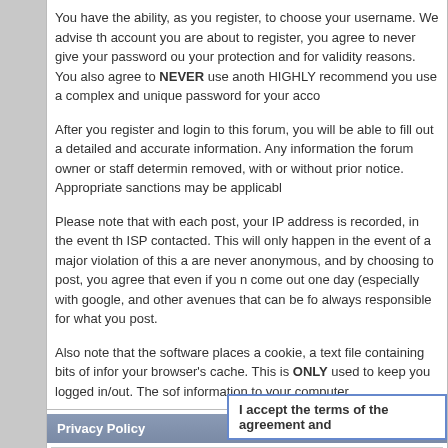You have the ability, as you register, to choose your username. We advise that account you are about to register, you agree to never give your password out your protection and for validity reasons. You also agree to NEVER use anoth HIGHLY recommend you use a complex and unique password for your acco
After you register and login to this forum, you will be able to fill out a detailed and accurate information. Any information the forum owner or staff determin removed, with or without prior notice. Appropriate sanctions may be applicabl
Please note that with each post, your IP address is recorded, in the event th ISP contacted. This will only happen in the event of a major violation of this a are never anonymous, and by choosing to post, you agree that even if you n come out one day (especially with google, and other avenues that can be fo always responsible for what you post.
Also note that the software places a cookie, a text file containing bits of infor your browser's cache. This is ONLY used to keep you logged in/out. The sof information to your computer.
Privacy Policy
A privacy policy has not been created for this forum.
I accept the terms of the agreement and